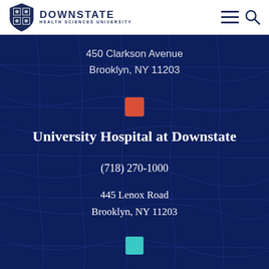[Figure (logo): Downstate Health Sciences University shield logo and text in navy blue]
450 Clarkson Avenue
Brooklyn, NY 11203
[Figure (other): Orange/red square map location marker]
University Hospital at Downstate
(718) 270-1000
445 Lenox Road
Brooklyn, NY 11203
[Figure (other): Teal square map location marker]